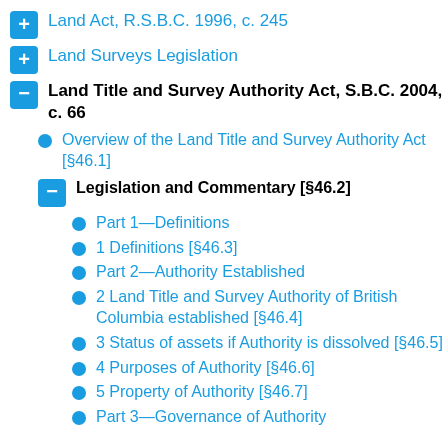Land Act, R.S.B.C. 1996, c. 245
Land Surveys Legislation
Land Title and Survey Authority Act, S.B.C. 2004, c. 66
Overview of the Land Title and Survey Authority Act [§46.1]
Legislation and Commentary [§46.2]
Part 1—Definitions
1 Definitions [§46.3]
Part 2—Authority Established
2 Land Title and Survey Authority of British Columbia established [§46.4]
3 Status of assets if Authority is dissolved [§46.5]
4 Purposes of Authority [§46.6]
5 Property of Authority [§46.7]
Part 3—Governance of Authority